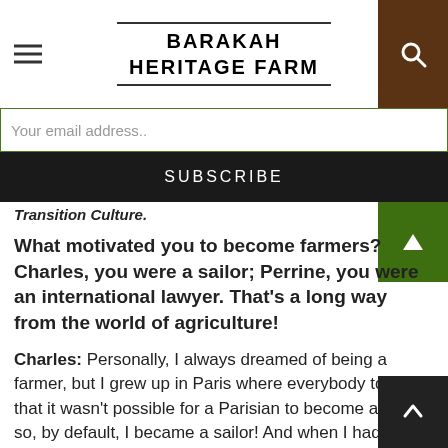BARAKAH HERITAGE FARM
Your email address..
SUBSCRIBE
Transition Culture.
What motivated you to become farmers? Charles, you were a sailor; Perrine, you were an international lawyer. That’s a long way from the world of agriculture!
Charles: Personally, I always dreamed of being a farmer, but I grew up in Paris where everybody told me that it wasn’t possible for a Parisian to become a farmer so, by default, I became a sailor! And when I had my school boat [a French version of Operation Raleigh allowing young people to travel the world in an educational setting] we